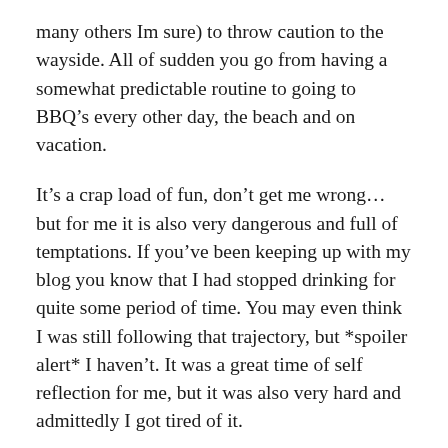many others Im sure) to throw caution to the wayside. All of sudden you go from having a somewhat predictable routine to going to BBQ’s every other day, the beach and on vacation.
It’s a crap load of fun, don’t get me wrong… but for me it is also very dangerous and full of temptations. If you’ve been keeping up with my blog you know that I had stopped drinking for quite some period of time. You may even think I was still following that trajectory, but *spoiler alert* I haven’t. It was a great time of self reflection for me, but it was also very hard and admittedly I got tired of it.
I slowly started drinking again here and there at